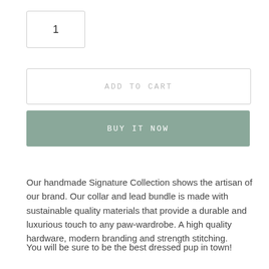1
ADD TO CART
BUY IT NOW
Our handmade Signature Collection shows the artisan of our brand. Our collar and lead bundle is made with sustainable quality materials that provide a durable and luxurious touch to any paw-wardrobe. A high quality hardware, modern branding and strength stitching.
You will be sure to be the best dressed pup in town!